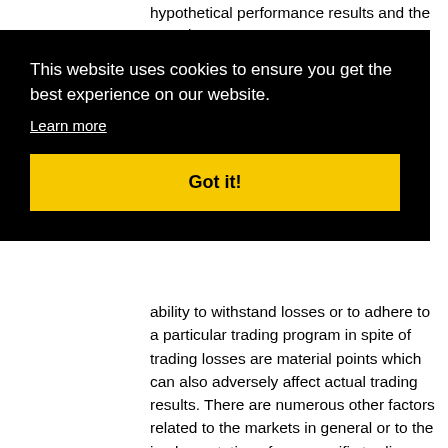hypothetical performance results and the actual
This website uses cookies to ensure you get the best experience on our website. Learn more Got it!
ability to withstand losses or to adhere to a particular trading program in spite of trading losses are material points which can also adversely affect actual trading results. There are numerous other factors related to the markets in general or to the implementation of any specific trading program which cannot be fully accounted for in the preparation of hypothetical performance results and all which can adversely